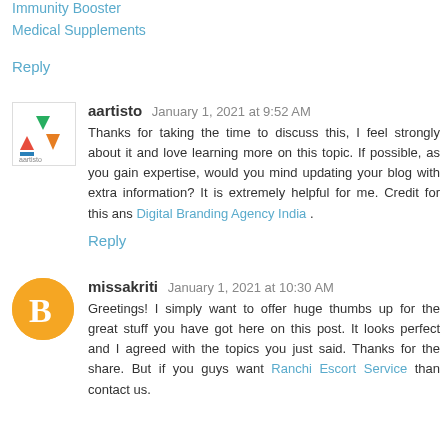Immunity Booster
Medical Supplements
Reply
aartisto  January 1, 2021 at 9:52 AM
Thanks for taking the time to discuss this, I feel strongly about it and love learning more on this topic. If possible, as you gain expertise, would you mind updating your blog with extra information? It is extremely helpful for me. Credit for this ans Digital Branding Agency India .
Reply
missakriti  January 1, 2021 at 10:30 AM
Greetings! I simply want to offer huge thumbs up for the great stuff you have got here on this post. It looks perfect and I agreed with the topics you just said. Thanks for the share. But if you guys want Ranchi Escort Service than contact us.